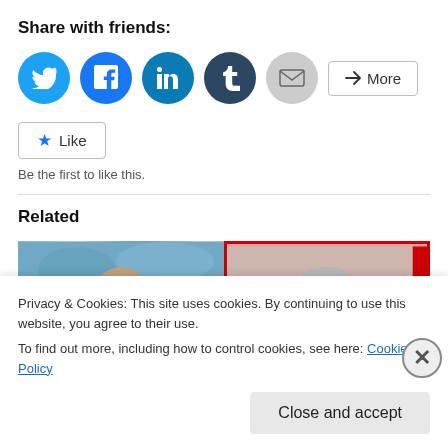Share with friends:
[Figure (infographic): Social share buttons: Twitter (blue circle), Facebook (blue circle), LinkedIn (teal circle), Tumblr (dark blue circle), Email (grey circle), and a More button]
[Figure (infographic): Like button with star icon]
Be the first to like this.
Related
[Figure (photo): Two related article thumbnail images side by side: left shows a bald man (Pep Guardiola) with crowd in background; right shows a grey-haired man (Jose Mourinho) with red border]
Privacy & Cookies: This site uses cookies. By continuing to use this website, you agree to their use.
To find out more, including how to control cookies, see here: Cookie Policy